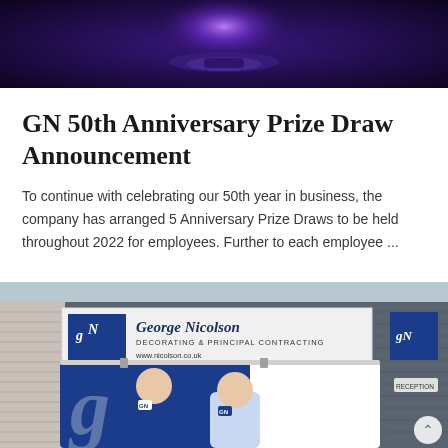[Figure (photo): Purple/blue glowing spotlight or trophy on a dark purple background, viewed from above]
GN 50th Anniversary Prize Draw Announcement
To continue with celebrating our 50th year in business, the company has arranged 5 Anniversary Prize Draws to be held throughout 2022 for employees. Further to each employee ...
[Figure (photo): Two men standing in front of a white and blue George Nicolson Decorating & Principal Contracting van, with the company building and signage visible in the background]